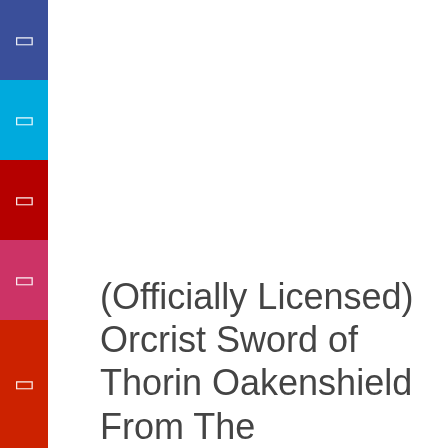[Figure (other): Vertical sidebar with colored blocks: dark blue, cyan, dark red, pink-red, and red, each containing a small white icon placeholder]
(Officially Licensed) Orcrist Sword of Thorin Oakenshield From The